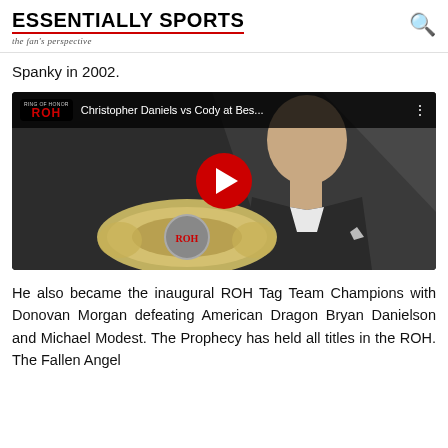ESSENTIALLY SPORTS — the fan's perspective
Spanky in 2002.
[Figure (screenshot): YouTube video thumbnail showing a bald man in a suit holding an ROH championship belt, with video title 'Christopher Daniels vs Cody at Bes...' and ROH logo in the YouTube player bar, red play button overlay in center]
He also became the inaugural ROH Tag Team Champions with Donovan Morgan defeating American Dragon Bryan Danielson and Michael Modest. The Prophecy has held all titles in the ROH. The Fallen Angel